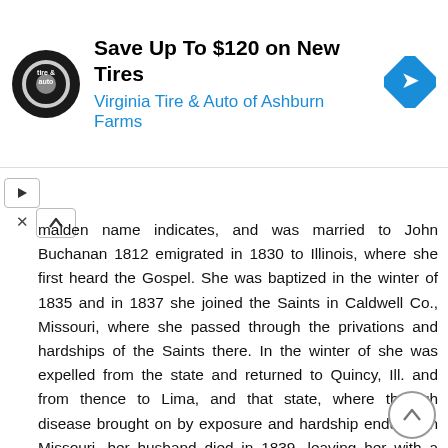[Figure (advertisement): Virginia Tire & Auto of Ashburn Farms ad banner with logo, headline 'Save Up To $120 on New Tires', and directional arrow diamond icon]
maiden name indicates, and was married to John Buchanan 1812 emigrated in 1830 to Illinois, where she first heard the Gospel. She was baptized in the winter of 1835 and in 1837 she joined the Saints in Caldwell Co., Missouri, where she passed through the privations and hardships of the Saints there. In the winter of she was expelled from the state and returned to Quincy, Ill. and from thence to Lima, and that state, where through disease brought on by exposure and hardship endured in Missouri, her husband died in 1839, leaving her with a family of eight children to provide for, In 1844 she was driven by mob violence from Lima to Nauvoo, where she remained until the Spring of 1846, when she, with a large company of Saints took up the line of march to the great west.